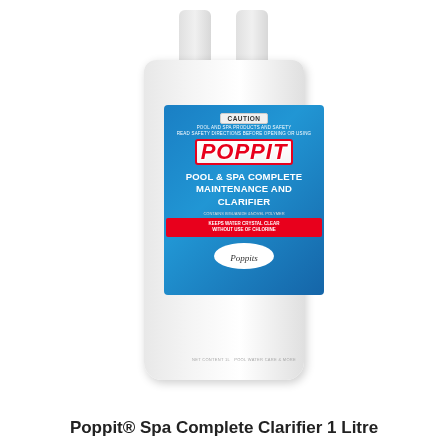[Figure (photo): A white dual-nozzle plastic bottle of Poppit Pool & Spa Complete Maintenance and Clarifier 1 Litre with a blue product label showing the Poppit brand name in red italic text, a caution notice, product description in white text, and a Poppits oval logo at the bottom. A butterfly logo appears on the upper right of the bottle.]
Poppit® Spa Complete Clarifier 1 Litre